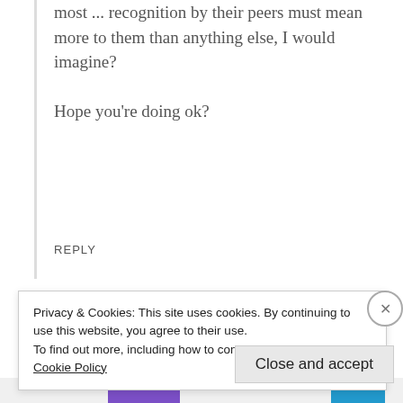most ... recognition by their peers must mean more to them than anything else, I would imagine?
Hope you're doing ok?
REPLY
The Platform Where WordPress Works Best
Privacy & Cookies: This site uses cookies. By continuing to use this website, you agree to their use.
To find out more, including how to control cookies, see here: Cookie Policy
Close and accept